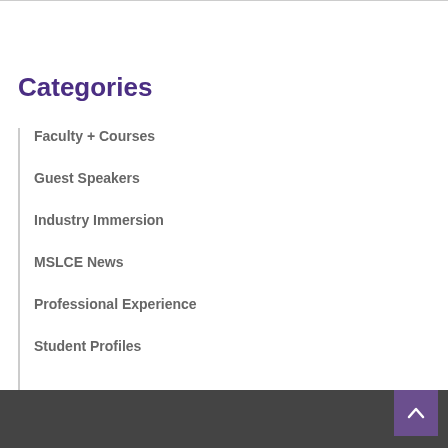Categories
Faculty + Courses
Guest Speakers
Industry Immersion
MSLCE News
Professional Experience
Student Profiles